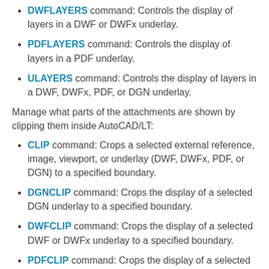DWFLAYERS command: Controls the display of layers in a DWF or DWFx underlay.
PDFLAYERS command: Controls the display of layers in a PDF underlay.
ULAYERS command: Controls the display of layers in a DWF, DWFx, PDF, or DGN underlay.
Manage what parts of the attachments are shown by clipping them inside AutoCAD/LT:
CLIP command: Crops a selected external reference, image, viewport, or underlay (DWF, DWFx, PDF, or DGN) to a specified boundary.
DGNCLIP command: Crops the display of a selected DGN underlay to a specified boundary.
DWFCLIP command: Crops the display of a selected DWF or DWFx underlay to a specified boundary.
PDFCLIP command: Crops the display of a selected PDF underlay to a specified boundary.